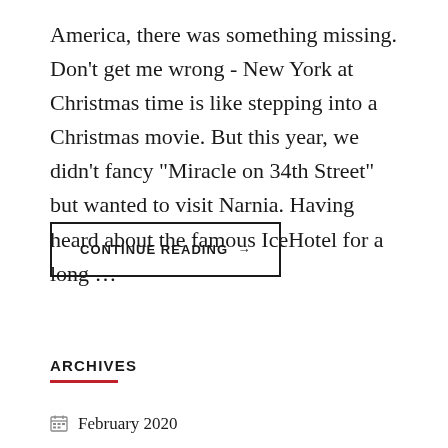America, there was something missing. Don't get me wrong - New York at Christmas time is like stepping into a Christmas movie. But this year, we didn't fancy "Miracle on 34th Street" but wanted to visit Narnia. Having heard about the famous IceHotel for a long …
CONTINUE READING →
ARCHIVES
February 2020